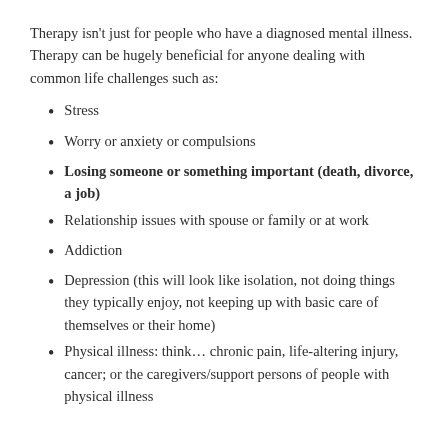Therapy isn't just for people who have a diagnosed mental illness. Therapy can be hugely beneficial for anyone dealing with common life challenges such as:
Stress
Worry or anxiety or compulsions
Losing someone or something important (death, divorce, a job)
Relationship issues with spouse or family or at work
Addiction
Depression (this will look like isolation, not doing things they typically enjoy, not keeping up with basic care of themselves or their home)
Physical illness: think… chronic pain, life-altering injury, cancer; or the caregivers/support persons of people with physical illness